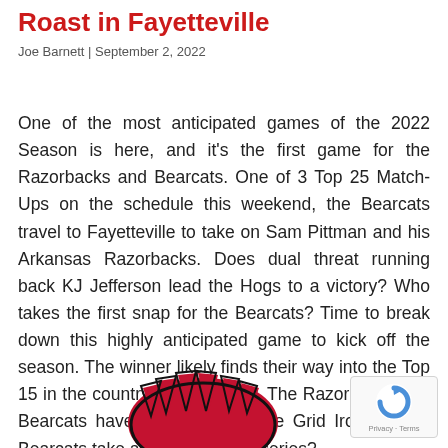Roast in Fayetteville
Joe Barnett | September 2, 2022
One of the most anticipated games of the 2022 Season is here, and it's the first game for the Razorbacks and Bearcats. One of 3 Top 25 Match-Ups on the schedule this weekend, the Bearcats travel to Fayetteville to take on Sam Pittman and his Arkansas Razorbacks. Does dual threat running back KJ Jefferson lead the Hogs to a victory? Who takes the first snap for the Bearcats? Time to break down this highly anticipated game to kick off the season. The winner likely finds their way into the Top 15 in the country with a victory. The Razorbacks and Bearcats have never met on the Grid Iron, do the Bearcats take a 1-0 lead in the series?
[Figure (illustration): Partial view of a Bearcat mascot illustration in red and black at the bottom of the page]
[Figure (logo): reCAPTCHA badge in lower right corner showing the reCAPTCHA logo with Privacy and Terms links]